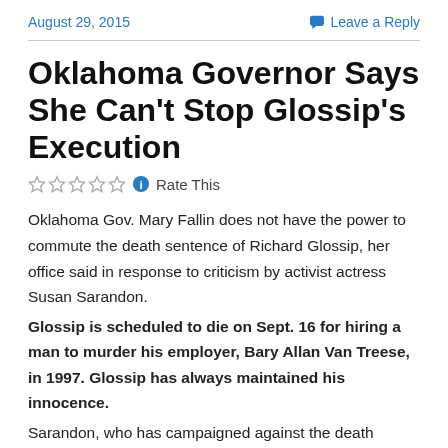August 29, 2015
Leave a Reply
Oklahoma Governor Says She Can't Stop Glossip's Execution
Rate This
Oklahoma Gov. Mary Fallin does not have the power to commute the death sentence of Richard Glossip, her office said in response to criticism by activist actress Susan Sarandon.
Glossip is scheduled to die on Sept. 16 for hiring a man to murder his employer, Bary Allan Van Treese, in 1997. Glossip has always maintained his innocence.
Sarandon, who has campaigned against the death penalty for years, called Fallin a “horrible person” for refusing to